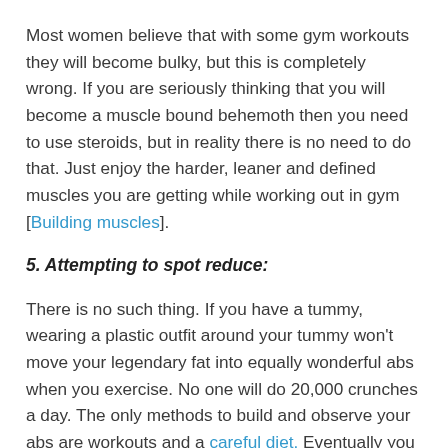Most women believe that with some gym workouts they will become bulky, but this is completely wrong. If you are seriously thinking that you will become a muscle bound behemoth then you need to use steroids, but in reality there is no need to do that. Just enjoy the harder, leaner and defined muscles you are getting while working out in gym [Building muscles].
5. Attempting to spot reduce:
There is no such thing. If you have a tummy, wearing a plastic outfit around your tummy won't move your legendary fat into equally wonderful abs when you exercise. No one will do 20,000 crunches a day. The only methods to build and observe your abs are workouts and a careful diet. Eventually you will get the strongest, most defined abs in the world.